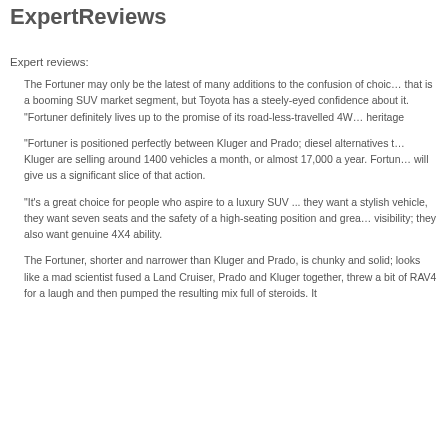ExpertReviews
Expert reviews:
The Fortuner may only be the latest of many additions to the confusion of choices that is a booming SUV market segment, but Toyota has a steely-eyed confidence about it. "Fortuner definitely lives up to the promise of its road-less-travelled 4WD heritage
"Fortuner is positioned perfectly between Kluger and Prado; diesel alternatives to Kluger are selling around 1400 vehicles a month, or almost 17,000 a year. Fortuner will give us a significant slice of that action.
"It's a great choice for people who aspire to a luxury SUV ... they want a stylish vehicle, they want seven seats and the safety of a high-seating position and great visibility; they also want genuine 4X4 ability.
The Fortuner, shorter and narrower than Kluger and Prado, is chunky and solid; it looks like a mad scientist fused a Land Cruiser, Prado and Kluger together, threw a bit of RAV4 for a laugh and then pumped the resulting mix full of steroids. It